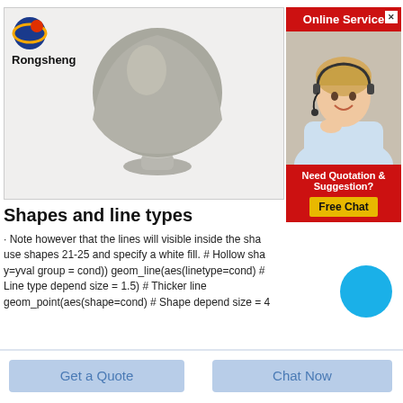[Figure (photo): Rongsheng brand logo with globe icon, and a grey powder mound shaped like a rounded cone on a pedestal, product photo on light grey background]
[Figure (photo): Online Service panel with red header, close button, customer service agent woman with headset smiling, 'Need Quotation & Suggestion?' text, Free Chat yellow button, and blue circle chat icon]
Shapes and line types
Note however that the lines will visible inside the shapes if you use shapes 21-25 and specify a white fill. # Hollow shapes y=yval group = cond)) geom_line(aes(linetype=cond) # Line type depends on cond size = 1.5) # Thicker line geom_point(aes(shape=cond) # Shape depends on cond size = 4
Get a Quote
Chat Now